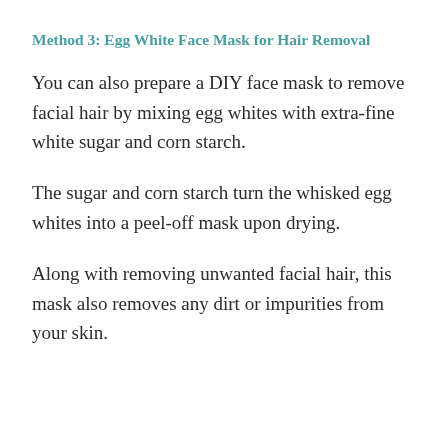Method 3: Egg White Face Mask for Hair Removal
You can also prepare a DIY face mask to remove facial hair by mixing egg whites with extra-fine white sugar and corn starch.
The sugar and corn starch turn the whisked egg whites into a peel-off mask upon drying.
Along with removing unwanted facial hair, this mask also removes any dirt or impurities from your skin.